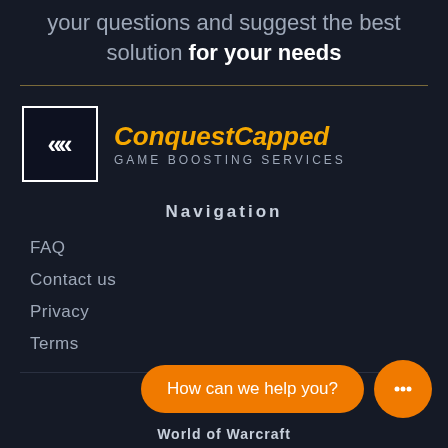your questions and suggest the best solution for your needs
[Figure (logo): ConquestCapped logo with double chevron icon and text 'ConquestCapped GAME BOOSTING SERVICES']
Navigation
FAQ
Contact us
Privacy
Terms
How can we help you?
World of Warcraft